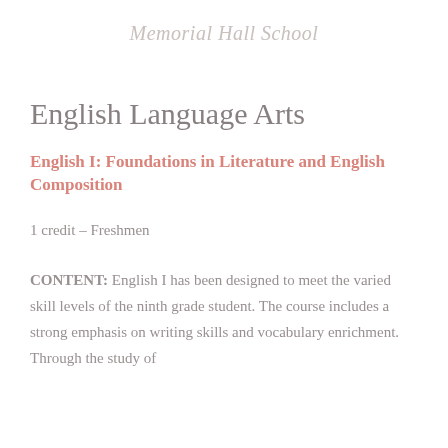Memorial Hall School
English Language Arts
English I: Foundations in Literature and English Composition
1 credit – Freshmen
CONTENT: English I has been designed to meet the varied skill levels of the ninth grade student. The course includes a strong emphasis on writing skills and vocabulary enrichment. Through the study of